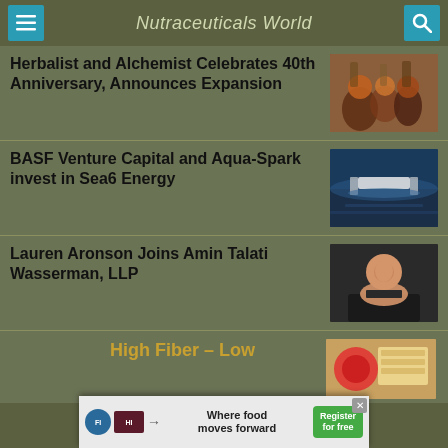Nutraceuticals World
Herbalist and Alchemist Celebrates 40th Anniversary, Announces Expansion
[Figure (photo): Photo of herbs and spices in bowls]
BASF Venture Capital and Aqua-Spark invest in Sea6 Energy
[Figure (photo): Photo of a boat on open ocean water]
Lauren Aronson Joins Amin Talati Wasserman, LLP
[Figure (photo): Portrait photo of a woman smiling]
High Fiber – Low
[Figure (photo): Photo of high fiber food items]
[Figure (infographic): Advertisement banner: Where food moves forward – Register for free]